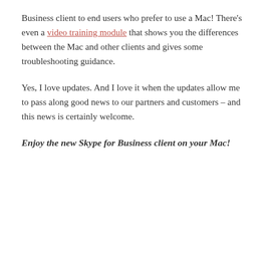Business client to end users who prefer to use a Mac! There's even a video training module that shows you the differences between the Mac and other clients and gives some troubleshooting guidance.
Yes, I love updates. And I love it when the updates allow me to pass along good news to our partners and customers – and this news is certainly welcome.
Enjoy the new Skype for Business client on your Mac!
CATEGORIES  OFFICE365
TAGS  CLIENT, MAC, OFFICE365, SKYPE FOR BUSINESS